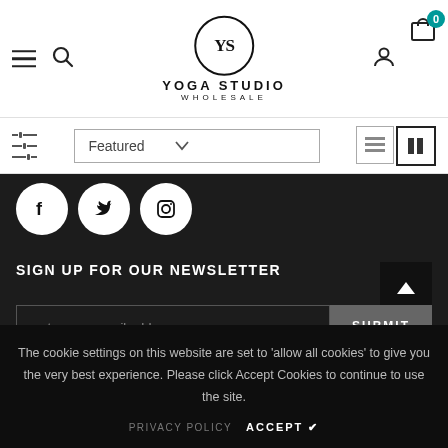[Figure (logo): Yoga Studio Wholesale logo with YS monogram in circle]
SIGN UP FOR OUR NEWSLETTER
enter your email address
SUBMIT
The cookie settings on this website are set to 'allow all cookies' to give you the very best experience. Please click Accept Cookies to continue to use the site.
PRIVACY POLICY
ACCEPT ✔